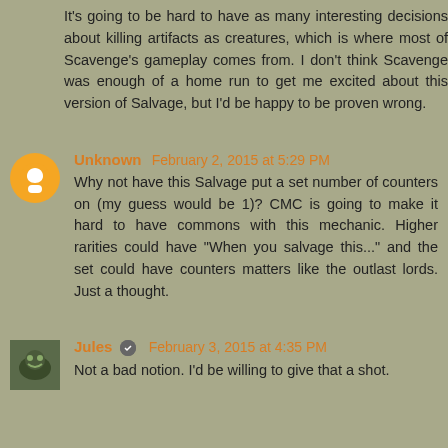It's going to be hard to have as many interesting decisions about killing artifacts as creatures, which is where most of Scavenge's gameplay comes from. I don't think Scavenge was enough of a home run to get me excited about this version of Salvage, but I'd be happy to be proven wrong.
Unknown February 2, 2015 at 5:29 PM
Why not have this Salvage put a set number of counters on (my guess would be 1)? CMC is going to make it hard to have commons with this mechanic. Higher rarities could have "When you salvage this..." and the set could have counters matters like the outlast lords. Just a thought.
Jules February 3, 2015 at 4:35 PM
Not a bad notion. I'd be willing to give that a shot.